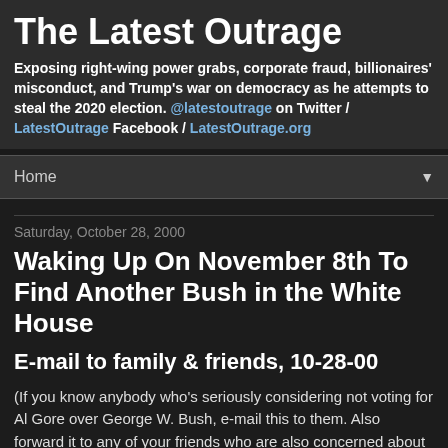The Latest Outrage
Exposing right-wing power grabs, corporate fraud, billionaires' misconduct, and Trump's war on democracy as he attempts to steal the 2020 election. @latestoutrage on Twitter / LatestOutrage Facebook / LatestOutrage.org
Home ▼
Saturday, October 28, 2000
Waking Up On November 8th To Find Another Bush in the White House
E-mail to family & friends, 10-28-00
(If you know anybody who's seriously considering not voting for Al Gore over George W. Bush, e-mail this to them. Also forward it to any of your friends who are also concerned about waking up on November 8th to find another Bush in